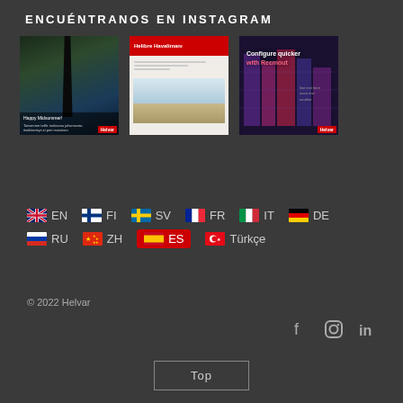ENCUÉNTRANOS EN INSTAGRAM
[Figure (photo): Three Instagram post thumbnails: 1) dark forest/nature scene with Helvar branding, 2) white report cover with aerial photo, 3) dark tech/circuit board image with Helvar branding]
🇬🇧 EN
🇫🇮 FI
🇸🇪 SV
🇫🇷 FR
🇮🇹 IT
🇩🇪 DE
🇷🇺 RU
🇨🇳 ZH
🇪🇸 ES (active/selected)
🇹🇷 Türkçe
© 2022 Helvar
Top